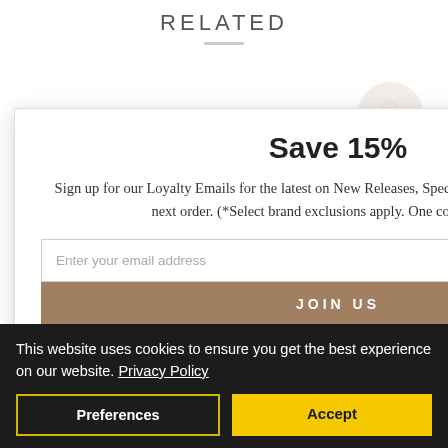RELATED
[Figure (photo): Partially visible luxury lipstick case product with white embossed floral top and pale blue ribbed base with gold band]
L & JOE BEAUTE STICK CASE N
Save 15%
Sign up for our Loyalty Emails for the latest on New Releases, Special Offers, and 15% off* your next order. (*Select brand exclusions apply. One code per order)
Enter your email address
JOIN US
By signing up, you agree to receive emails with Beautyhabit News, Special Offers, Promotions and messages tailored to your interests. You can unsubscribe at any time. You also
This website uses cookies to ensure you get the best experience on our website. Privacy Policy
Preferences
Accept